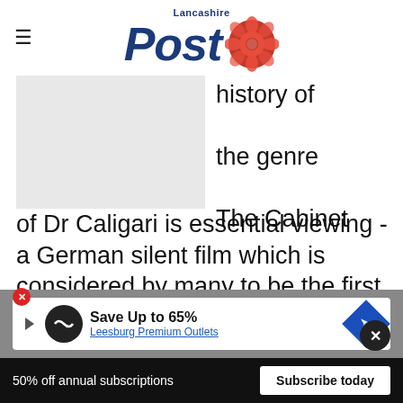Lancashire Post
[Figure (photo): Image placeholder / partially visible article image on left side]
history of the genre The Cabinet of Dr Caligari is essential viewing - a German silent film which is considered by many to be the first true horror movie.
The film tells the story of an insane hypnotist who claims his somnambulist, Cesare, can see into t... of a carnival goer (which subsequently comes to
[Figure (infographic): Advertisement banner: Save Up to 65% - Leesburg Premium Outlets with arrow icon]
50% off annual subscriptions
Subscribe today